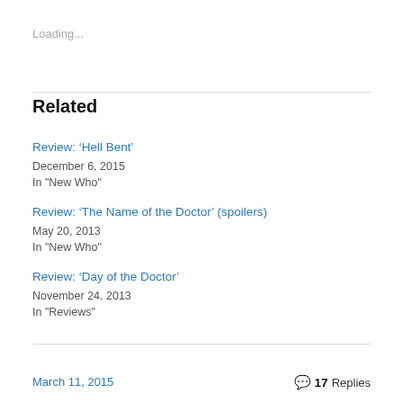Loading...
Related
Review: ‘Hell Bent’
December 6, 2015
In "New Who"
Review: ‘The Name of the Doctor’ (spoilers)
May 20, 2013
In "New Who"
Review: ‘Day of the Doctor’
November 24, 2013
In "Reviews"
March 11, 2015   💬 17 Replies